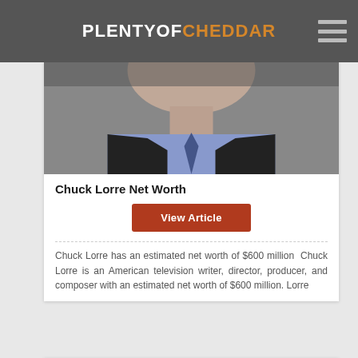PLENTYOFCHEDDAR
[Figure (photo): Photo of Chuck Lorre in dark suit and blue shirt with tie, cropped to lower face and torso]
Chuck Lorre Net Worth
View Article
Chuck Lorre has an estimated net worth of $600 million  Chuck Lorre is an American television writer, director, producer, and composer with an estimated net worth of $600 million. Lorre
[Figure (photo): Photo of another person, face visible, lighter complexion, older male]